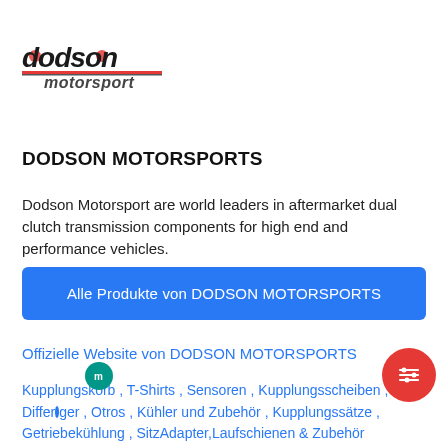[Figure (logo): Dodson Motorsport logo — stylized italic 'dodson' in black with red accent dots on the d letters, and 'motorsport' in grey below with a red underline stripe]
DODSON MOTORSPORTS
Dodson Motorsport are world leaders in aftermarket dual clutch transmission components for high end and performance vehicles.
Alle Produkte von DODSON MOTORSPORTS
Offizielle Website von DODSON MOTORSPORTS
Kupplungskorb , T-Shirts , Sensoren , Kupplungsscheiben , Differger , Otros , Kühler und Zubehör , Kupplungssätze , Getriebekühlung , SitzAdapter,Laufschienen & Zubehör